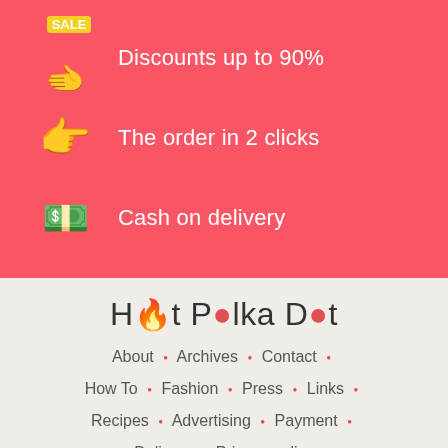Discounts up to 90%
The order in 2 clicks
Cash on delivery
Hot Polka Dot
About • Archives • Contact • How To • Fashion • Press • Links • Recipes • Advertising • Payment • Delivery • Privacy policy